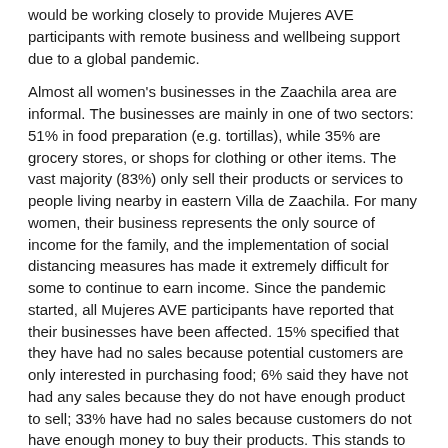would be working closely to provide Mujeres AVE participants with remote business and wellbeing support due to a global pandemic.
Almost all women's businesses in the Zaachila area are informal. The businesses are mainly in one of two sectors: 51% in food preparation (e.g. tortillas), while 35% are grocery stores, or shops for clothing or other items. The vast majority (83%) only sell their products or services to people living nearby in eastern Villa de Zaachila. For many women, their business represents the only source of income for the family, and the implementation of social distancing measures has made it extremely difficult for some to continue to earn income. Since the pandemic started, all Mujeres AVE participants have reported that their businesses have been affected. 15% specified that they have had no sales because potential customers are only interested in purchasing food; 6% said they have not had any sales because they do not have enough product to sell; 33% have had no sales because customers do not have enough money to buy their products. This stands to have a devastating impact on the area's families and the community in general.
Although when store...